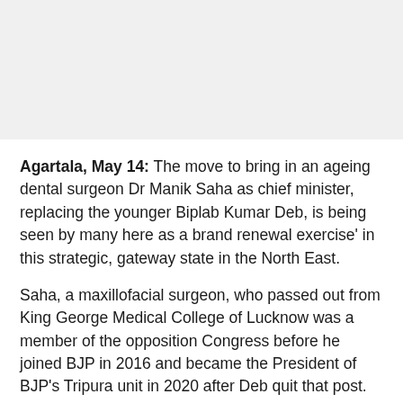Agartala, May 14: The move to bring in an ageing dental surgeon Dr Manik Saha as chief minister, replacing the younger Biplab Kumar Deb, is being seen by many here as a brand renewal exercise' in this strategic, gateway state in the North East.
Saha, a maxillofacial surgeon, who passed out from King George Medical College of Lucknow was a member of the opposition Congress before he joined BJP in 2016 and became the President of BJP's Tripura unit in 2020 after Deb quit that post.